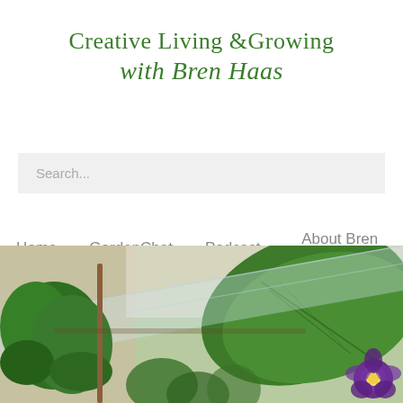Creative Living &Growing with Bren Haas
Search...
Home
GardenChat
Podcast
About Bren Haas
Contact
[Figure (photo): Photograph of plants in a greenhouse or garden setting, showing large green leaves, small plants, a wooden stake, and a purple flower (pansy) in the lower right corner. A clear plastic or glass surface is visible in the foreground.]